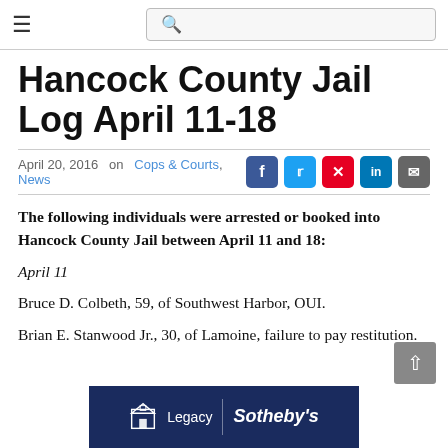☰  🔍
Hancock County Jail Log April 11-18
April 20, 2016  on  Cops & Courts,  News
The following individuals were arrested or booked into Hancock County Jail between April 11 and 18:
April 11
Bruce D. Colbeth, 59, of Southwest Harbor, OUI.
Brian E. Stanwood Jr., 30, of Lamoine, failure to pay restitution.
[Figure (logo): Legacy | Sotheby's real estate advertisement banner in dark navy blue]